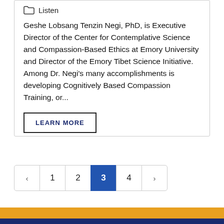Listen
Geshe Lobsang Tenzin Negi, PhD, is Executive Director of the Center for Contemplative Science and Compassion-Based Ethics at Emory University and Director of the Emory Tibet Science Initiative. Among Dr. Negi's many accomplishments is developing Cognitively Based Compassion Training, or...
LEARN MORE
< 1 2 3 4 >